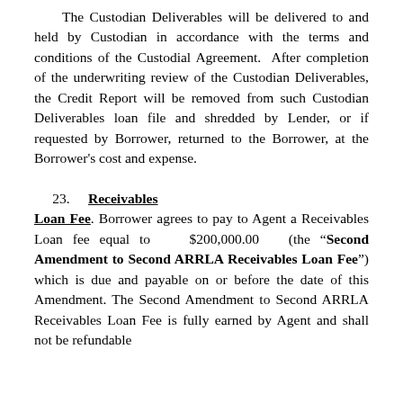The Custodian Deliverables will be delivered to and held by Custodian in accordance with the terms and conditions of the Custodial Agreement. After completion of the underwriting review of the Custodian Deliverables, the Credit Report will be removed from such Custodian Deliverables loan file and shredded by Lender, or if requested by Borrower, returned to the Borrower, at the Borrower's cost and expense.
23. Receivables Loan Fee
Borrower agrees to pay to Agent a Receivables Loan fee equal to $200,000.00 (the "Second Amendment to Second ARRLA Receivables Loan Fee") which is due and payable on or before the date of this Amendment. The Second Amendment to Second ARRLA Receivables Loan Fee is fully earned by Agent and shall not be refundable